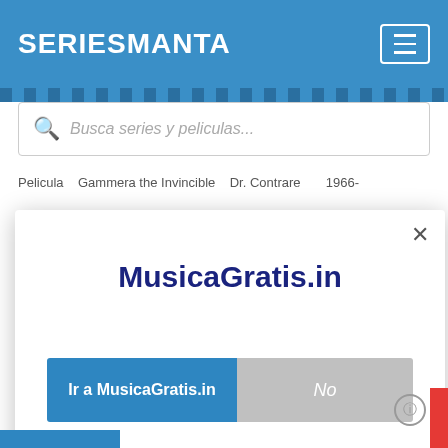[Figure (screenshot): Header bar of SeriesManta website with blue background, logo text 'SERIESMANTA' in white and a hamburger menu button on the right]
[Figure (screenshot): Search bar with placeholder text 'Busca series y peliculas...' and a search icon]
Pelicula   Gammera the Invincible   Dr. Contrare   1966-
[Figure (screenshot): Modal dialog popup with title 'MusicaGratis.in', a blue 'Ir a MusicaGratis.in' button and a grey 'No' button, plus a close X button]